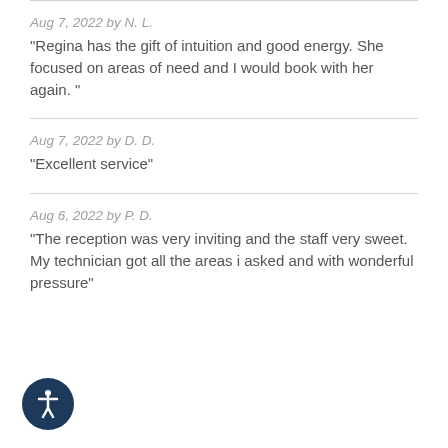Aug 7, 2022 by N. L.
"Regina has the gift of intuition and good energy. She focused on areas of need and I would book with her again. "
Aug 7, 2022 by D. D.
"Excellent service"
Aug 6, 2022 by P. D.
"The reception was very inviting and the staff very sweet. My technician got all the areas i asked and with wonderful pressure"